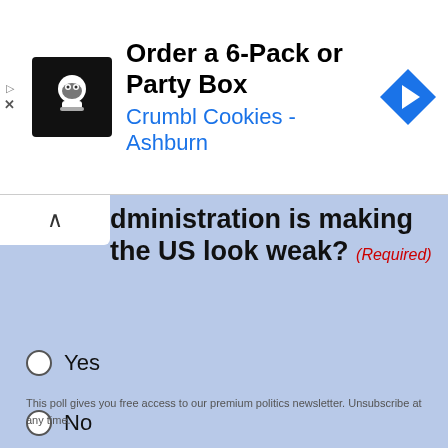[Figure (screenshot): Advertisement banner: Crumbl Cookies - Ashburn. Order a 6-Pack or Party Box.]
dministration is making the US look weak? (Required)
Yes
No
Email (Required)
This poll gives you free access to our premium politics newsletter. Unsubscribe at any time.